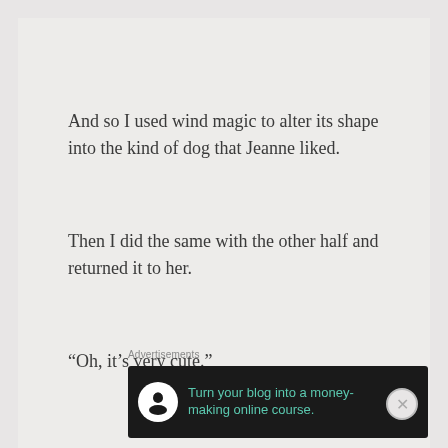And so I used wind magic to alter its shape into the kind of dog that Jeanne liked.
Then I did the same with the other half and returned it to her.
“Oh, it’s very cute.”
Advertisements
[Figure (infographic): Dark advertisement banner: tree/person icon on white circle, teal text 'Turn your blog into a money-making online course.' with white arrow on right]